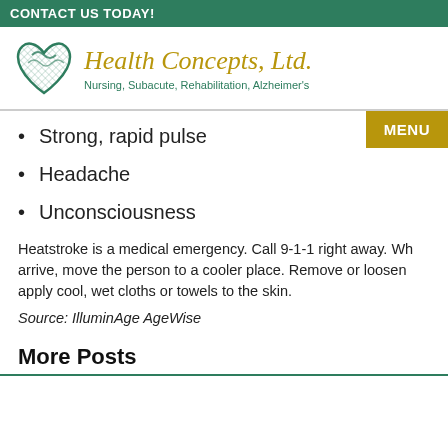CONTACT US TODAY!
[Figure (logo): Health Concepts, Ltd. logo with teal heart graphic and tagline: Nursing, Subacute, Rehabilitation, Alzheimer's]
Strong, rapid pulse
Headache
Unconsciousness
Heatstroke is a medical emergency. Call 9-1-1 right away. Wh... arrive, move the person to a cooler place. Remove or loosen ... apply cool, wet cloths or towels to the skin.
Source: IlluminAge AgeWise
More Posts